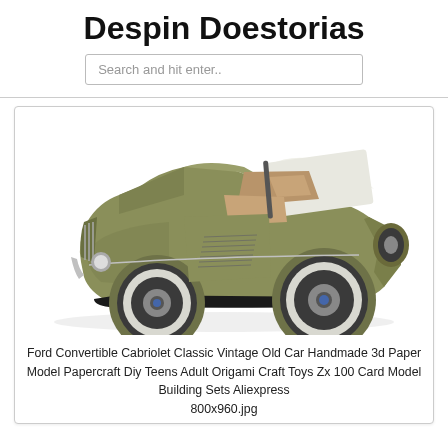Despin Doestorias
Search and hit enter..
[Figure (photo): A 3D paper model of a Ford Convertible Cabriolet Classic Vintage Old Car in olive/army green color, viewed from a three-quarter front angle showing the open top interior with tan/brown seats and a white windshield frame. The model has detailed chrome grille, whitewall tires, and black running boards.]
Ford Convertible Cabriolet Classic Vintage Old Car Handmade 3d Paper Model Papercraft Diy Teens Adult Origami Craft Toys Zx 100 Card Model Building Sets Aliexpress
800x960.jpg